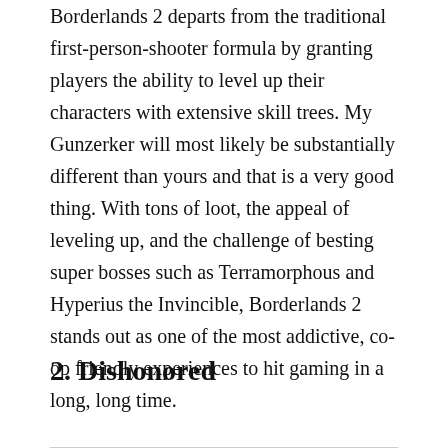Borderlands 2 departs from the traditional first-person-shooter formula by granting players the ability to level up their characters with extensive skill trees. My Gunzerker will most likely be substantially different than yours and that is a very good thing. With tons of loot, the appeal of leveling up, and the challenge of besting super bosses such as Terramorphous and Hyperius the Invincible, Borderlands 2 stands out as one of the most addictive, co-op friendly experiences to hit gaming in a long, long time.
2. Dishonored